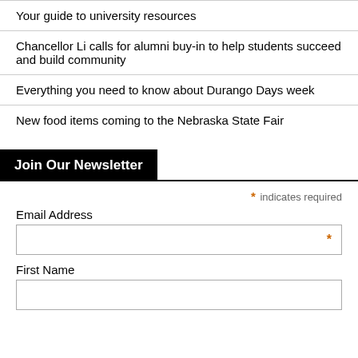Your guide to university resources
Chancellor Li calls for alumni buy-in to help students succeed and build community
Everything you need to know about Durango Days week
New food items coming to the Nebraska State Fair
Join Our Newsletter
* indicates required
Email Address
First Name